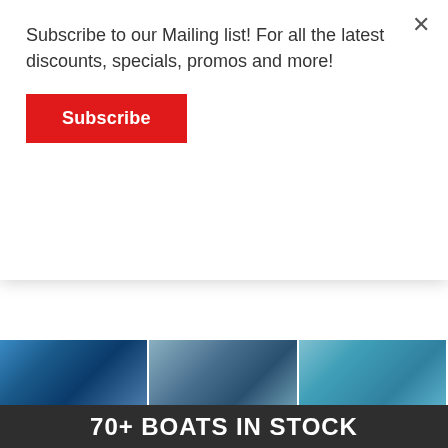Subscribe to our Mailing list! For all the latest discounts, specials, promos and more!
[Figure (other): Red Subscribe button in modal popup]
[Figure (photo): Partial boat image strip showing water and boat hull]
Stessl 730 Coastrunner Review
The Stessl 730 Coastrunner is a big, strong plate alloy trailer boat with an excellent fishing layo...
[Figure (other): READ MORE button]
[Figure (photo): Advertisement banner showing three boat photos and text '70+ BOATS IN STOCK']